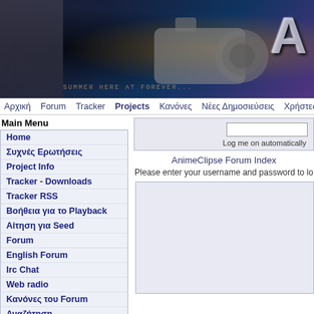[Figure (screenshot): AnimeClipse website header banner with dark stylized background, anime character face on left, camera/lens in center, large letter A logo on right]
Αρχική  Forum  Tracker  Projects  Κανόνες  Νέες Δημοσιεύσεις  Χρήστες  Συχ
Main Menu
Home
Συχνές Ερωτήσεις
Project Info
Tracker - Downloads
Tracker RSS
Βοήθεια για το Playback
Αίτηση για Seed
Forum
English Forum
Irc Chat
Web radio
Κανόνες του Forum
Αναζήτηση
Πολιτική Διαμοιρασμού
Σχετικά με την Ομάδα
Join Discord
Log me on automatically
AnimeClipse Forum Index
Please enter your username and password to lo
Personal Menu